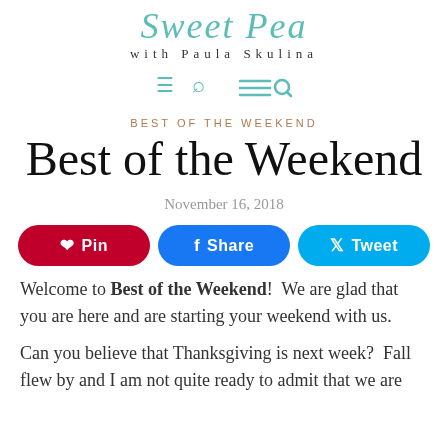Sweet Pea with Paula Skulina
[Figure (other): Navigation bar with hamburger menu and search icon in teal]
BEST OF THE WEEKEND
Best of the Weekend
November 16, 2018
[Figure (infographic): Three social share buttons: Pin (red), Share (blue), Tweet (light blue)]
Welcome to Best of the Weekend!  We are glad that you are here and are starting your weekend with us.
Can you believe that Thanksgiving is next week?  Fall flew by and I am not quite ready to admit that we are